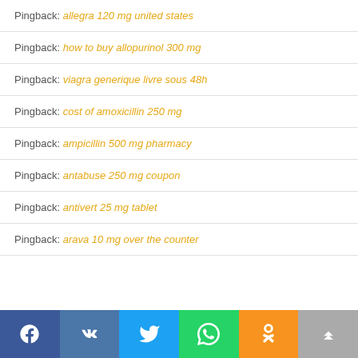Pingback: allegra 120 mg united states
Pingback: how to buy allopurinol 300 mg
Pingback: viagra generique livre sous 48h
Pingback: cost of amoxicillin 250 mg
Pingback: ampicillin 500 mg pharmacy
Pingback: antabuse 250 mg coupon
Pingback: antivert 25 mg tablet
Pingback: arava 10 mg over the counter
Social share bar: Facebook, VK, Twitter, WhatsApp, Odnoklassniki, Top